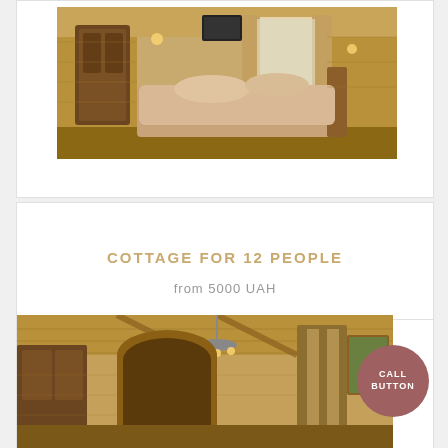[Figure (photo): Interior of a wooden log cabin bedroom with a large bed with beige bedding, ornate carved wooden furniture, a window with curtains, a wall-mounted TV, and warm wooden walls and ceiling.]
COTTAGE FOR 12 PEOPLE
from 5000 UAH
[Figure (photo): Interior of a wooden log cabin room showing ceiling with light fixture/chandelier, arched doorway, wooden walls, curtains, and framed artwork on the wall.]